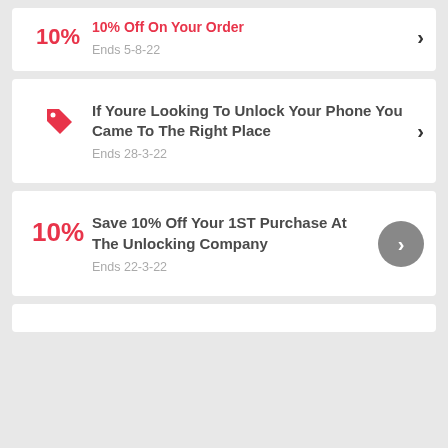10% Off On Your Order — Ends 5-8-22
If Youre Looking To Unlock Your Phone You Came To The Right Place — Ends 28-3-22
Save 10% Off Your 1ST Purchase At The Unlocking Company — Ends 22-3-22